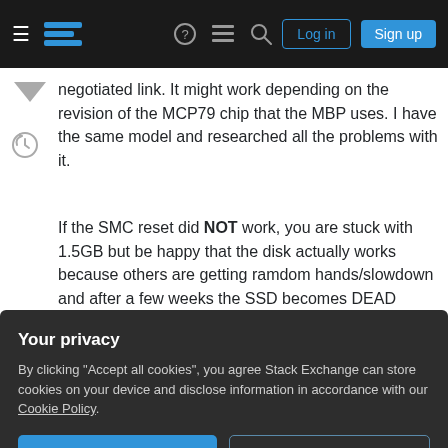Stack Exchange navigation bar with Log in and Sign up buttons
negotiated link. It might work depending on the revision of the MCP79 chip that the MBP uses. I have the same model and researched all the problems with it.
If the SMC reset did NOT work, you are stuck with 1.5GB but be happy that the disk actually works because others are getting ramdom hands/slowdown and after a few weeks the SSD becomes DEAD (would not boot anymore).
On the OCZ models, they did a firmware tweak to
Your privacy
By clicking "Accept all cookies", you agree Stack Exchange can store cookies on your device and disclose information in accordance with our Cookie Policy.
Accept all cookies
Customize settings
cases, a large read will cause the beachball wait